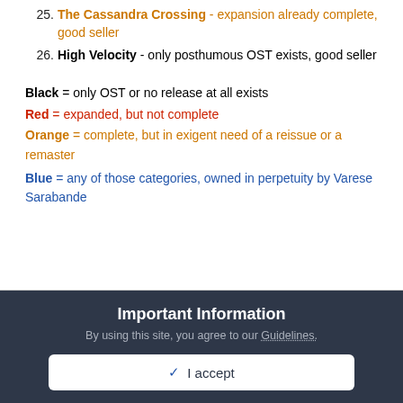25. The Cassandra Crossing - expansion already complete, good seller
26. High Velocity - only posthumous OST exists, good seller
Black = only OST or no release at all exists
Red = expanded, but not complete
Orange = complete, but in exigent need of a reissue or a remaster
Blue = any of those categories, owned in perpetuity by Varese Sarabande
Important Information
By using this site, you agree to our Guidelines.
✓  I accept